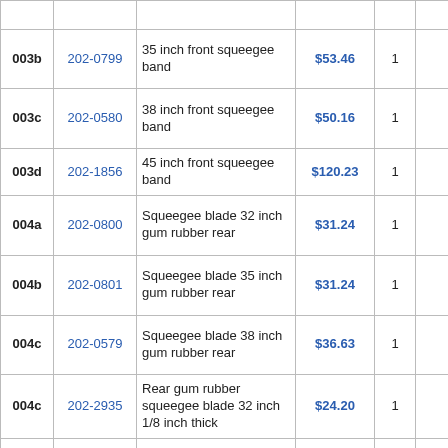| ID | Part # | Description | Price | Qty |  | Notes |
| --- | --- | --- | --- | --- | --- | --- |
|  |  |  |  |  |  | 20 c |
| 003b | 202-0799 | 35 inch front squeegee band | $53.46 | 1 |  | usua ship 20 c |
| 003c | 202-0580 | 38 inch front squeegee band | $50.16 | 1 |  | usua ship 20 c |
| 003d | 202-1856 | 45 inch front squeegee band | $120.23 | 1 |  | ship sam |
| 004a | 202-0800 | Squeegee blade 32 inch gum rubber rear | $31.24 | 1 |  | usua ship 20 c |
| 004b | 202-0801 | Squeegee blade 35 inch gum rubber rear | $31.24 | 1 |  | usua ship 20 c |
| 004c | 202-0579 | Squeegee blade 38 inch gum rubber rear | $36.63 | 1 |  | usua ship 20 c |
| 004c | 202-2935 | Rear gum rubber squeegee blade 32 inch 1/8 inch thick | $24.20 | 1 |  | usua ship 20 c |
| 004d | 202-0002 | Squeegee blade 45 inch gum rubber rear | $38.28 | 1 |  | usua ship |